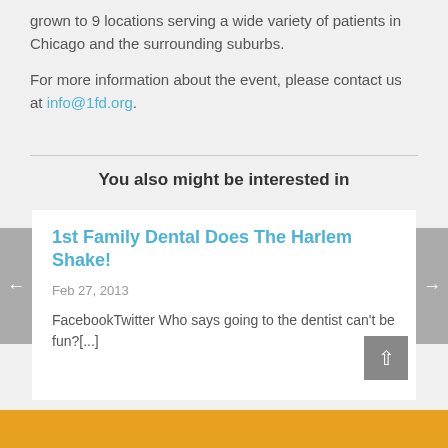grown to 9 locations serving a wide variety of patients in Chicago and the surrounding suburbs.
For more information about the event, please contact us at info@1fd.org.
You also might be interested in
1st Family Dental Does The Harlem Shake!
Feb 27, 2013
FacebookTwitter Who says going to the dentist can't be fun?[...]
[Figure (other): Orange image bar at the bottom of the page]